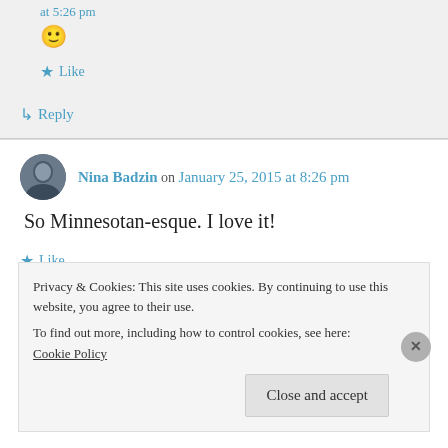at 5:26 pm
🙂
★ Like
↳ Reply
Nina Badzin on January 25, 2015 at 8:26 pm
So Minnesotan-esque. I love it!
★ Like
Privacy & Cookies: This site uses cookies. By continuing to use this website, you agree to their use. To find out more, including how to control cookies, see here: Cookie Policy
Close and accept